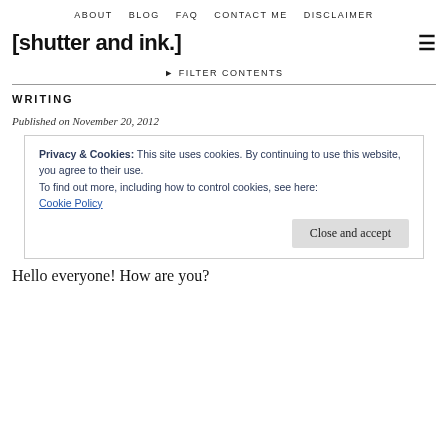ABOUT   BLOG   FAQ   CONTACT ME   DISCLAIMER
[shutter and ink.]
▶ FILTER CONTENTS
WRITING
Published on November 20, 2012
Privacy & Cookies: This site uses cookies. By continuing to use this website, you agree to their use.
To find out more, including how to control cookies, see here: Cookie Policy
Hello everyone! How are you?